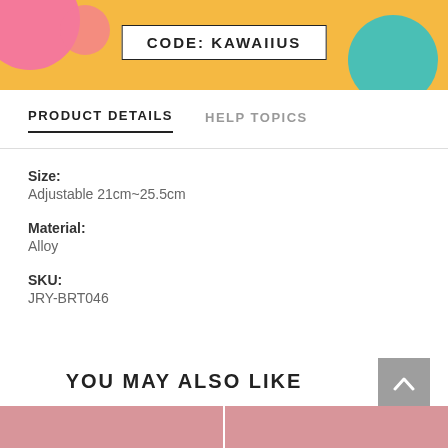[Figure (illustration): Promotional banner with yellow/gold background, pink and teal decorative circles, and a white box showing the code KAWAIIUS]
PRODUCT DETAILS
HELP TOPICS
Size: Adjustable 21cm~25.5cm
Material: Alloy
SKU: JRY-BRT046
YOU MAY ALSO LIKE
[Figure (photo): Product thumbnail images at bottom of page]